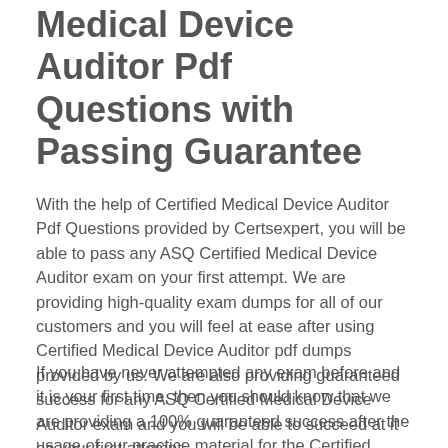Medical Device Auditor Pdf Questions with Passing Guarantee
With the help of Certified Medical Device Auditor Pdf Questions provided by Certsexpert, you will be able to pass any ASQ Certified Medical Device Auditor exam on your first attempt. We are providing high-quality exam dumps for all of our customers and you will feel at ease after using Certified Medical Device Auditor pdf dumps provided by us. We are also providing guaranteed success for any ASQ Certified Medical Device Auditor exam and you will be able to succeed at it on your first attempt.
If you have never attempted any exam before and it is your first time, then you should know that we are providing a 100% guaranteed success after the usage of our practice material for the Certified Medical Device Auditor exam. If you